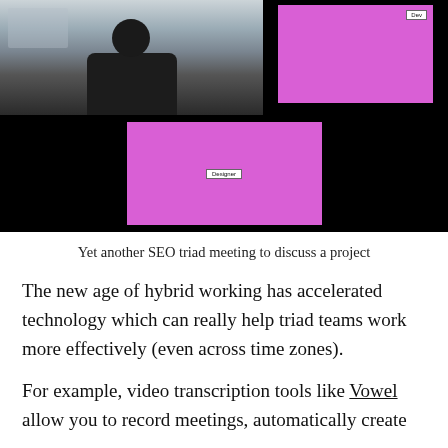[Figure (screenshot): A video call screenshot showing three participants. Top left: a person in a dark hoodie in a real room. Top right: a pink/magenta placeholder panel labeled 'Dev'. Bottom center: a larger pink/magenta placeholder panel labeled 'Designer'. Background is black.]
Yet another SEO triad meeting to discuss a project
The new age of hybrid working has accelerated technology which can really help triad teams work more effectively (even across time zones).
For example, video transcription tools like Vowel allow you to record meetings, automatically create